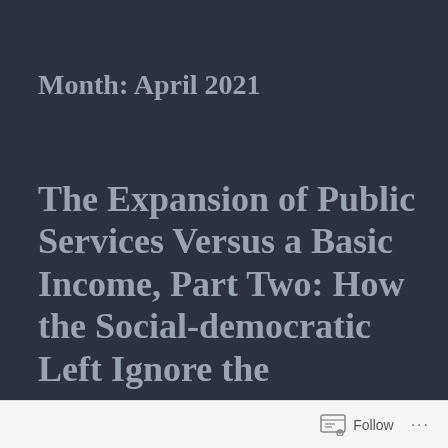Month: April 2021
The Expansion of Public Services Versus a Basic Income, Part Two: How the Social-democratic Left Ignore the
Follow ...